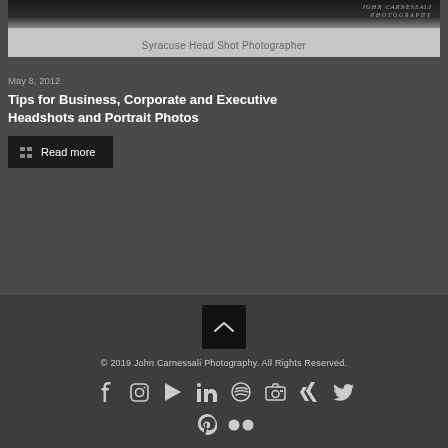[Figure (photo): Partial photo of a person in dark clothing with a photographer logo watermark, cropped at top. Caption below reads 'Syracuse Head Shot Photographer'.]
Syracuse Head Shot Photographer
May 8, 2012
Tips for Business, Corporate and Executive Headshots and Portrait Photos
Read more
© 2019 John Carnessali Photography. All Rights Reserved.